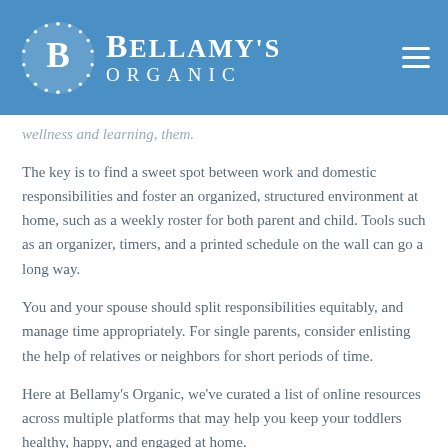Bellamy's Organic
wellness and learning, them.
The key is to find a sweet spot between work and domestic responsibilities and foster an organized, structured environment at home, such as a weekly roster for both parent and child. Tools such as an organizer, timers, and a printed schedule on the wall can go a long way.
You and your spouse should split responsibilities equitably, and manage time appropriately. For single parents, consider enlisting the help of relatives or neighbors for short periods of time.
Here at Bellamy's Organic, we've curated a list of online resources across multiple platforms that may help you keep your toddlers healthy, happy, and engaged at home.